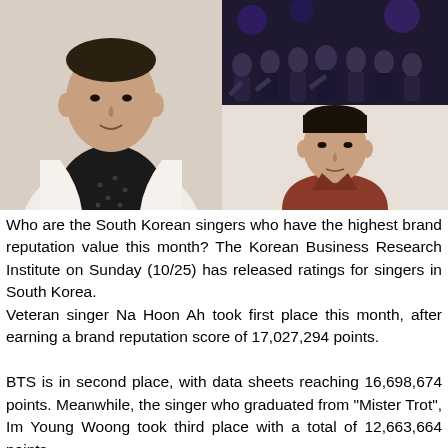[Figure (photo): Photo of a middle-aged man (Na Hoon Ah) wearing a white blazer over a black polka-dot shirt, light background]
[Figure (photo): Group photo of BTS, multiple members on a dark stage/background]
[Figure (photo): Photo of a young man (Im Young Woong) wearing a rust/red blazer over a black turtleneck, light background]
Who are the South Korean singers who have the highest brand reputation value this month? The Korean Business Research Institute on Sunday (10/25) has released ratings for singers in South Korea. Veteran singer Na Hoon Ah took first place this month, after earning a brand reputation score of 17,027,294 points.
BTS is in second place, with data sheets reaching 16,698,674 points. Meanwhile, the singer who graduated from "Mister Trot", Im Young Woong took third place with a total of 12,663,664 points.